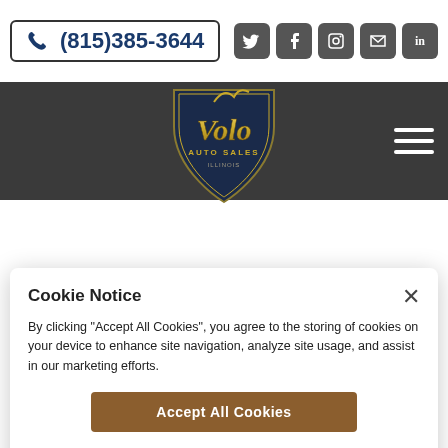(815)385-3644
[Figure (logo): Volo Auto Sales Illinois logo with shield and stylized script text]
NEW INTERIOR. NEW CRATE MOTOR. QUICK.
Cookie Notice
By clicking "Accept All Cookies", you agree to the storing of cookies on your device to enhance site navigation, analyze site usage, and assist in our marketing efforts.
Accept All Cookies
Cookies Settings